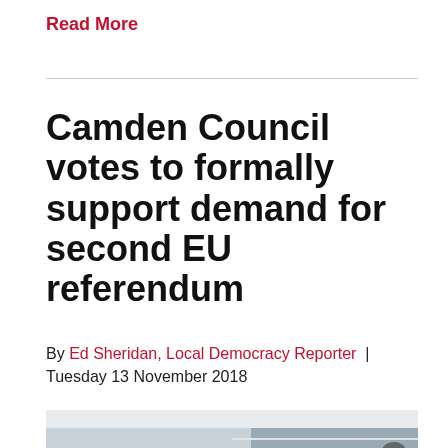Read More
Camden Council votes to formally support demand for second EU referendum
By Ed Sheridan, Local Democracy Reporter | Tuesday 13 November 2018
[Figure (photo): Interior photo of what appears to be a council chamber or public building lobby with ceiling lights, a railing or balcony visible, and a brown reception counter in the foreground.]